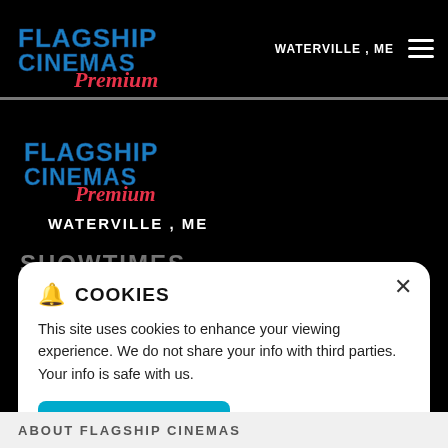Flagship Cinemas Premium — WATERVILLE , ME (navigation bar with hamburger menu)
[Figure (logo): Flagship Cinemas Premium logo (large, centered) on black background]
WATERVILLE , ME
SHOWTIMES
COOKIES
This site uses cookies to enhance your viewing experience. We do not share your info with third parties. Your info is safe with us.
ACCEPT   PRIVACY POLICY
ABOUT FLAGSHIP CINEMAS